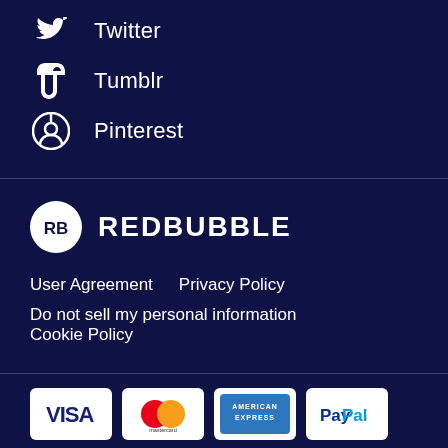Twitter
Tumblr
Pinterest
[Figure (logo): Redbubble logo with RB circle icon and REDBUBBLE wordmark]
User Agreement    Privacy Policy
Do not sell my personal information    Cookie Policy
[Figure (infographic): Payment method logos: Visa, Mastercard, American Express, PayPal, Apple Pay, Amazon Pay, Afterpay]